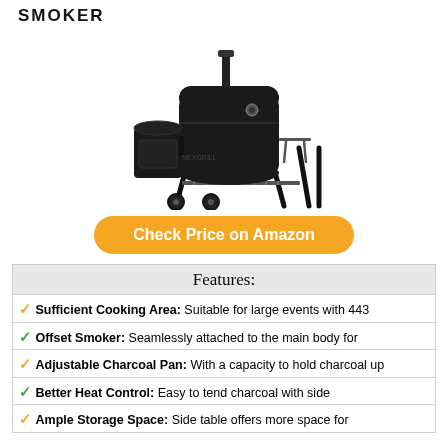SMOKER
[Figure (photo): Black offset charcoal smoker grill with side firebox, chimney, wheels, and bottom storage shelf]
Check Price on Amazon
| Features: |
| --- |
| ✓ Sufficient Cooking Area: Suitable for large events with 443 |
| ✓ Offset Smoker: Seamlessly attached to the main body for |
| ✓ Adjustable Charcoal Pan: With a capacity to hold charcoal up |
| ✓ Better Heat Control: Easy to tend charcoal with side |
| ✓ Ample Storage Space: Side table offers more space for |